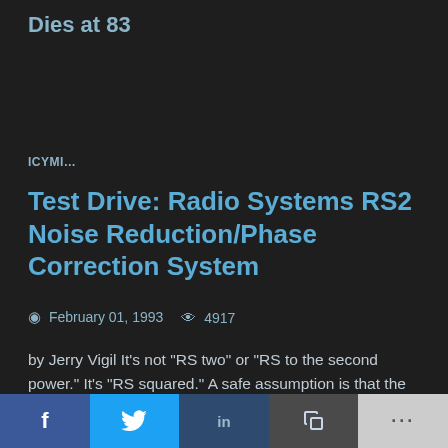Dies at 83
ICYMI...
Test Drive: Radio Systems RS2 Noise Reduction/Phase Correction System
February 01, 1993   4917
by Jerry Vigil It's not "RS two" or "RS to the second power." It's "RS squared." A safe assumption is that the RS stands for Radio Systems, and the "second 'S'" pertains to the new Dolby noise reduction